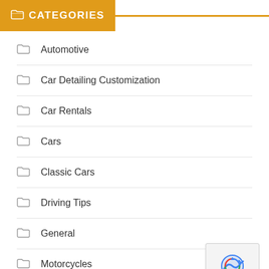CATEGORIES
Automotive
Car Detailing Customization
Car Rentals
Cars
Classic Cars
Driving Tips
General
Motorcycles
Recreational Vehicles